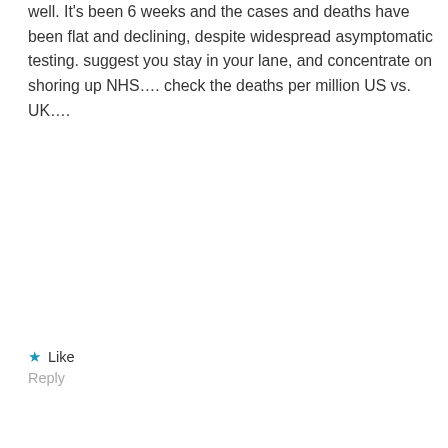well. It's been 6 weeks and the cases and deaths have been flat and declining, despite widespread asymptomatic testing. suggest you stay in your lane, and concentrate on shoring up NHS…. check the deaths per million US vs. UK….
★ Like
Reply
[Figure (illustration): User avatar icon: a circular avatar with a gold/tan abstract square icon on a light gray background]
DerpyLawyer says:
December 20, 2020 at 8:38 am
Hey US guy, your comment didn't age well. It's December now, and about 14,000 people in PA have died from COVID so far.